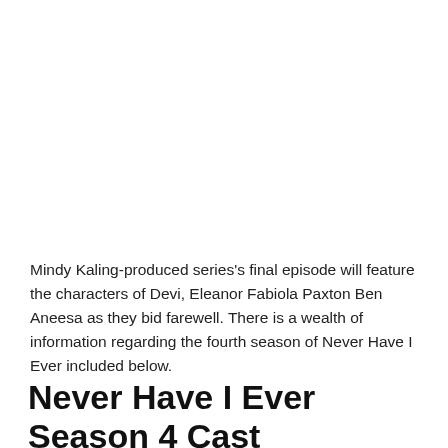Mindy Kaling-produced series's final episode will feature the characters of Devi, Eleanor Fabiola Paxton Ben Aneesa as they bid farewell. There is a wealth of information regarding the fourth season of Never Have I Ever included below.
Never Have I Ever Season 4 Cast